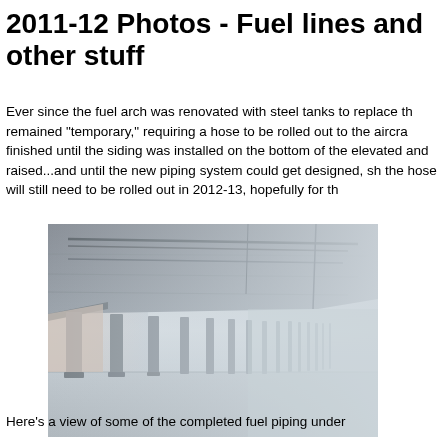2011-12 Photos - Fuel lines and other stuff
Ever since the fuel arch was renovated with steel tanks to replace th... remained "temporary," requiring a hose to be rolled out to the aircra... finished until the siding was installed on the bottom of the elevated... and raised...and until the new piping system could get designed, sh... the hose will still need to be rolled out in 2012-13, hopefully for th...
[Figure (photo): View of completed fuel piping under an elevated structure, showing concrete columns and piping running along the underside of the deck, foggy conditions visible in background]
Here's a view of some of the completed fuel piping under